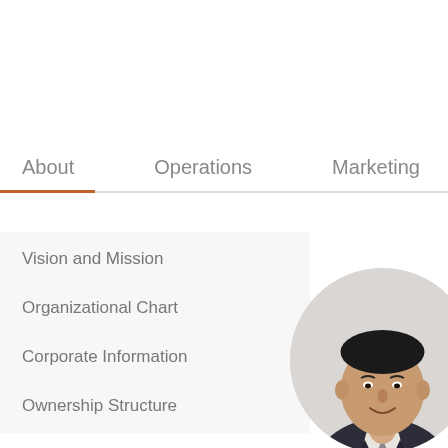About | Operations | Marketing | C...
Vision and Mission
Organizational Chart
Corporate Information
Ownership Structure
[Figure (photo): Headshot portrait of an Asian businessman in a dark suit and grey tie, smiling, shown in a circular crop against a light grey background.]